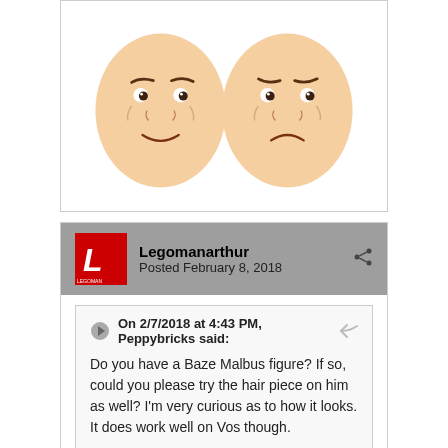[Figure (photo): Two LEGO minifigure heads side by side on white background. Left head has a smiling expression, right head has an angry/frowning expression. Both have brown eyebrows and similar facial features.]
Legomanarthur
Posted February 8, 2018
On 2/7/2018 at 4:43 PM, Peppybricks said:

Do you have a Baze Malbus figure? If so, could you please try the hair piece on him as well? I'm very curious as to how it looks. It does work well on Vos though.
Here you go:
[Figure (photo): Partial view of a blue/light background image at the bottom of the page, cropped.]